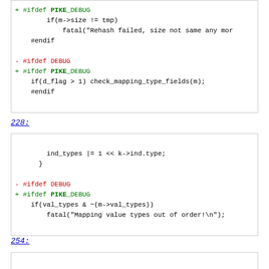[Figure (screenshot): Code diff block showing #ifdef PIKE_DEBUG with if(m->size != tmp) fatal and #endif, followed by - #ifdef DEBUG / + #ifdef PIKE_DEBUG block]
228:
[Figure (screenshot): Code diff block showing ind_types |= 1 << k->ind.type; } and - #ifdef DEBUG / + #ifdef PIKE_DEBUG / if(val_types & ~(m->val_types)) / fatal("Mapping value types out of order!\n");]
254:
[Figure (screenshot): Code diff block (empty/partial at bottom of page)]